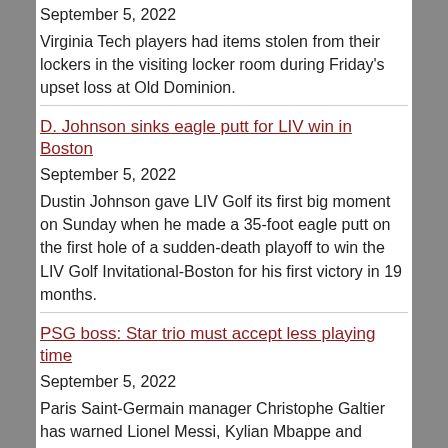September 5, 2022
Virginia Tech players had items stolen from their lockers in the visiting locker room during Friday's upset loss at Old Dominion.
D. Johnson sinks eagle putt for LIV win in Boston
September 5, 2022
Dustin Johnson gave LIV Golf its first big moment on Sunday when he made a 35-foot eagle putt on the first hole of a sudden-death playoff to win the LIV Golf Invitational-Boston for his first victory in 19 months.
PSG boss: Star trio must accept less playing time
September 5, 2022
Paris Saint-Germain manager Christophe Galtier has warned Lionel Messi, Kylian Mbappe and Neymar that they need to accept a role on the bench.
Retired Kerrigan rejoins Commanders as a coach